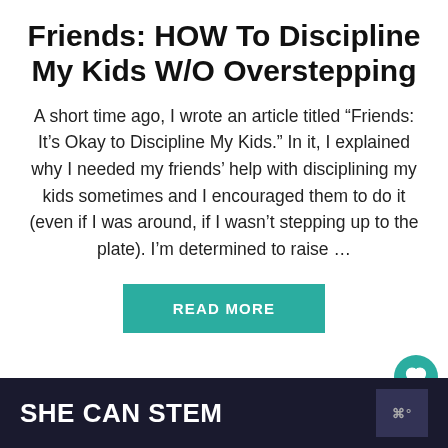Friends: HOW To Discipline My Kids W/O Overstepping
A short time ago, I wrote an article titled “Friends: It’s Okay to Discipline My Kids.” In it, I explained why I needed my friends’ help with disciplining my kids sometimes and I encouraged them to do it (even if I was around, if I wasn’t stepping up to the plate). I’m determined to raise …
READ MORE
SHE CAN STEM